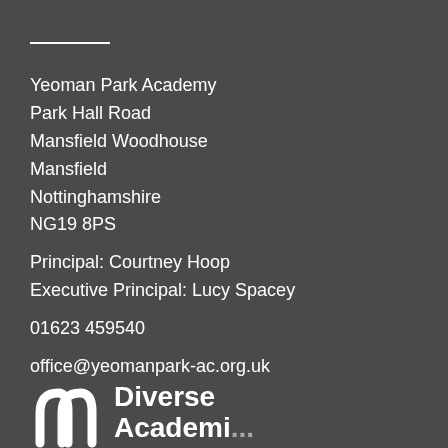Yeoman Park Academy
Park Hall Road
Mansfield Woodhouse
Mansfield
Nottinghamshire
NG19 8PS

Principal: Courtney Hoop
Executive Principal: Lucy Spacey

01623 459540

office@yeomanpark-ac.org.uk
[Figure (logo): Diverse Academies logo with stylized 'DA' icon in white and the text 'Diverse Academies']